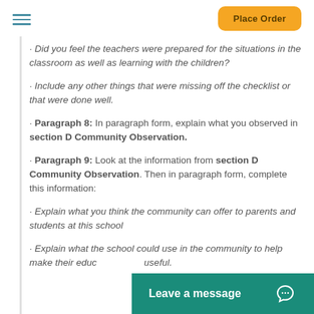Place Order
· Did you feel the teachers were prepared for the situations in the classroom as well as learning with the children?
· Include any other things that were missing off the checklist or that were done well.
· Paragraph 8: In paragraph form, explain what you observed in section D Community Observation.
· Paragraph 9: Look at the information from section D Community Observation. Then in paragraph form, complete this information:
· Explain what you think the community can offer to parents and students at this school
· Explain what the school could use in the community to help make their educ... useful.